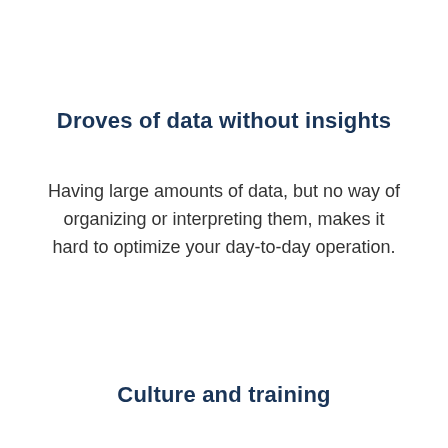Droves of data without insights
Having large amounts of data, but no way of organizing or interpreting them, makes it hard to optimize your day-to-day operation.
Culture and training